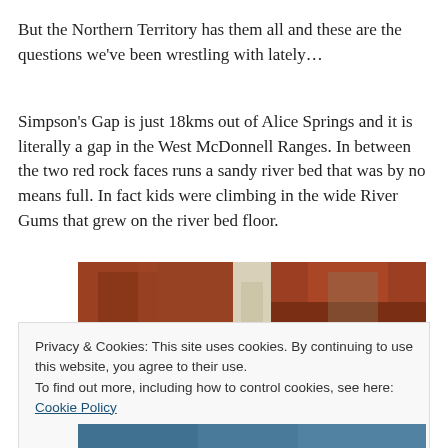But the Northern Territory has them all and these are the questions we've been wrestling with lately…
Simpson's Gap is just 18kms out of Alice Springs and it is literally a gap in the West McDonnell Ranges. In between the two red rock faces runs a sandy river bed that was by no means full. In fact kids were climbing in the wide River Gums that grew on the river bed floor.
[Figure (photo): Photo of Simpson's Gap showing red rock faces of the West McDonnell Ranges with a gap/gorge between them]
Privacy & Cookies: This site uses cookies. By continuing to use this website, you agree to their use.
To find out more, including how to control cookies, see here: Cookie Policy